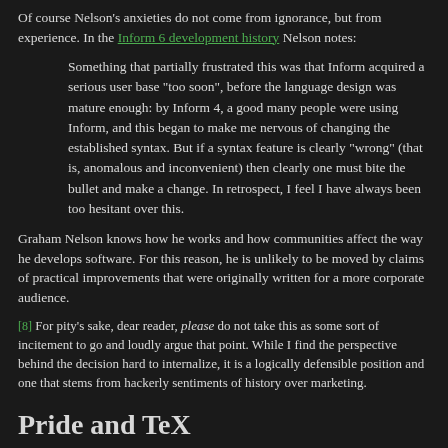Of course Nelson's anxieties do not come from ignorance, but from experience. In the Inform 6 development history Nelson notes:
Something that partially frustrated this was that Inform acquired a serious user base "too soon", before the language design was mature enough: by Inform 4, a good many people were using Inform, and this began to make me nervous of changing the established syntax. But if a syntax feature is clearly "wrong" (that is, anomalous and inconvenient) then clearly one must bite the bullet and make a change. In retrospect, I feel I have always been too hesitant over this.
Graham Nelson knows how he works and how communities affect the way he develops software. For this reason, he is unlikely to be moved by claims of practical improvements that were originally written for a more corporate audience.
[8] For pity's sake, dear reader, please do not take this as some sort of incitement to go and loudly argue that point. While I find the perspective behind the decision hard to internalize, it is a logically defensible position and one that stems from hackerly sentiments of history over marketing.
Pride and TeX